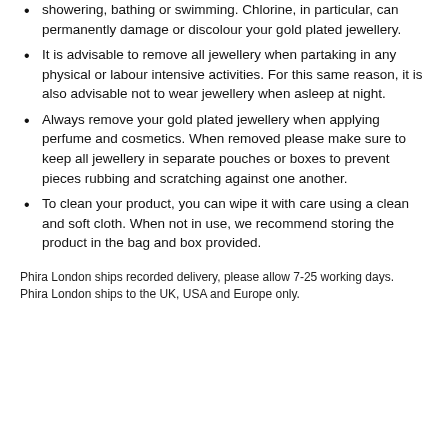showering, bathing or swimming. Chlorine, in particular, can permanently damage or discolour your gold plated jewellery.
It is advisable to remove all jewellery when partaking in any physical or labour intensive activities. For this same reason, it is also advisable not to wear jewellery when asleep at night.
Always remove your gold plated jewellery when applying perfume and cosmetics. When removed please make sure to keep all jewellery in separate pouches or boxes to prevent pieces rubbing and scratching against one another.
To clean your product, you can wipe it with care using a clean and soft cloth. When not in use, we recommend storing the product in the bag and box provided.
Phira London ships recorded delivery, please allow 7-25 working days.
Phira London ships to the UK, USA and Europe only.